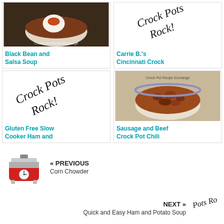[Figure (photo): Black bean soup with sour cream in a white bowl, Crock Pot Recipe Exchange watermark]
Black Bean and Salsa Soup
[Figure (illustration): Handwritten script logo 'Crock Pots Rock!']
Carrie B.'s Cincinnati Crock
[Figure (illustration): Handwritten script logo 'Crock Pots Rock!']
Gluten Free Slow Cooker Ham and
[Figure (photo): Sausage and beef chili in a white bowl, Crock Pot Recipe Exchange watermark]
Sausage and Beef Crock Pot Chili
[Figure (illustration): Illustration of a red crock pot slow cooker]
« PREVIOUS
Corn Chowder
NEXT »
Quick and Easy Ham and Potato Soup